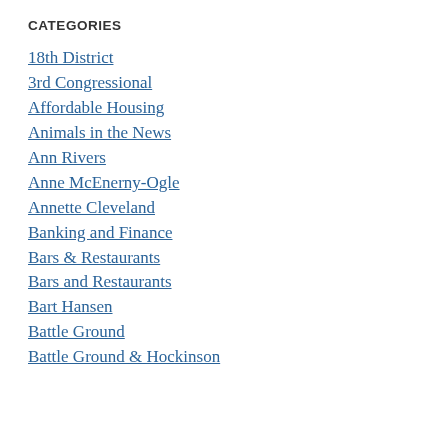CATEGORIES
18th District
3rd Congressional
Affordable Housing
Animals in the News
Ann Rivers
Anne McEnerny-Ogle
Annette Cleveland
Banking and Finance
Bars & Restaurants
Bars and Restaurants
Bart Hansen
Battle Ground
Battle Ground & Hockinson